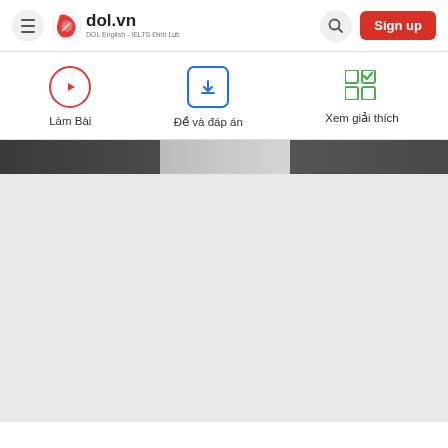dol.vn — DOL English - IELTS Đinh Lực — Sign up
Làm Bài
Đề và đáp án
Xem giải thích
[Figure (photo): Partial photo of people, mostly dark-colored image strip at top of content area, below which is a light gray placeholder area]